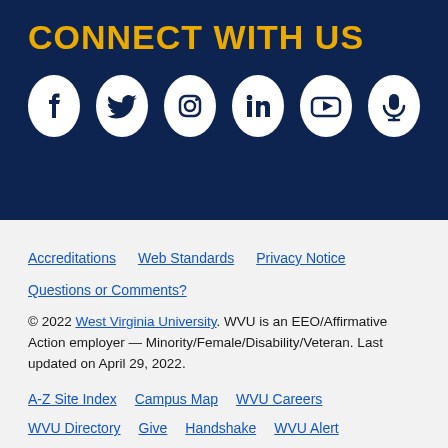CONNECT WITH US
[Figure (illustration): Six social media icons in white circles on dark navy background: Facebook, Twitter, Instagram, LinkedIn, YouTube, Podcast/microphone]
Accreditations   Web Standards   Privacy Notice   Questions or Comments?
© 2022 West Virginia University. WVU is an EEO/Affirmative Action employer — Minority/Female/Disability/Veteran. Last updated on April 29, 2022.
A-Z Site Index   Campus Map   WVU Careers   WVU Directory   Give   Handshake   WVU Alert   WVU Today   WVU Portal